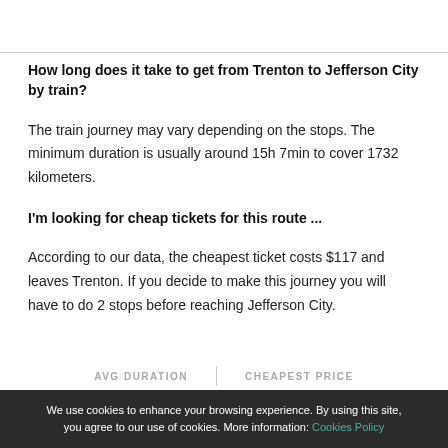How long does it take to get from Trenton to Jefferson City by train?
The train journey may vary depending on the stops. The minimum duration is usually around 15h 7min to cover 1732 kilometers.
I'm looking for cheap tickets for this route ...
According to our data, the cheapest ticket costs $117 and leaves Trenton. If you decide to make this journey you will have to do 2 stops before reaching Jefferson City.
AVG DURATION | CHEAPEST PRICE
We use cookies to enhance your browsing experience. By using this site, you agree to our use of cookies. More information: Cookies Policy